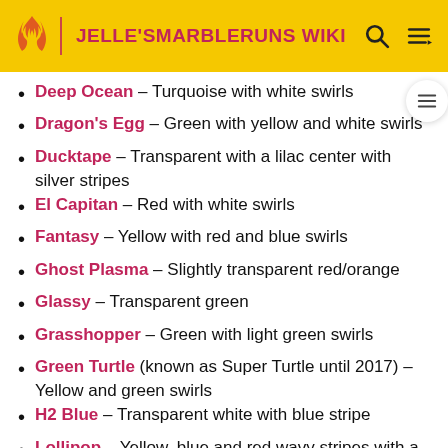JELLE'SMARBLERUNS WIKI
Deep Ocean - Turquoise with white swirls
Dragon's Egg - Green with yellow and white swirls
Ducktape - Transparent with a lilac center with silver stripes
El Capitan - Red with white swirls
Fantasy - Yellow with red and blue swirls
Ghost Plasma - Slightly transparent red/orange
Glassy - Transparent green
Grasshopper - Green with light green swirls
Green Turtle (known as Super Turtle until 2017) - Yellow and green swirls
H2 Blue - Transparent white with blue stripe
Lollipop - Yellow, blue and red wavy stripes with a patch of white on one end